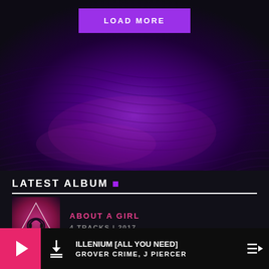[Figure (screenshot): Purple gradient hero background with wave pattern and LOAD MORE button]
LOAD MORE
LATEST ALBUM
[Figure (photo): About A Girl album artwork - pink and dark tones with headphones]
ABOUT A GIRL
4 TRACKS | 2017
[Figure (photo): All You Need album artwork - pink tones]
ALL YOU NEED
5 TRACKS | 2021
ILLENIUM [ALL YOU NEED]
GROVER CRIME, J PIERCER